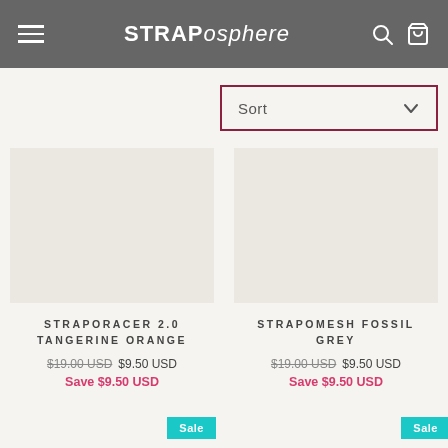STRAPosphere
Sort
STRAPORACER 2.0 TANGERINE ORANGE
$19.00 USD $9.50 USD
Save $9.50 USD
STRAPOMESH FOSSIL GREY
$19.00 USD $9.50 USD
Save $9.50 USD